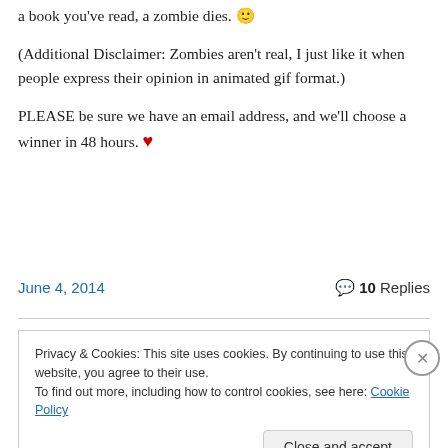a book you've read, a zombie dies. 🙂
(Additional Disclaimer: Zombies aren't real, I just like it when people express their opinion in animated gif format.)
PLEASE be sure we have an email address, and we'll choose a winner in 48 hours. ❤
June 4, 2014
10 Replies
Privacy & Cookies: This site uses cookies. By continuing to use this website, you agree to their use.
To find out more, including how to control cookies, see here: Cookie Policy
Close and accept